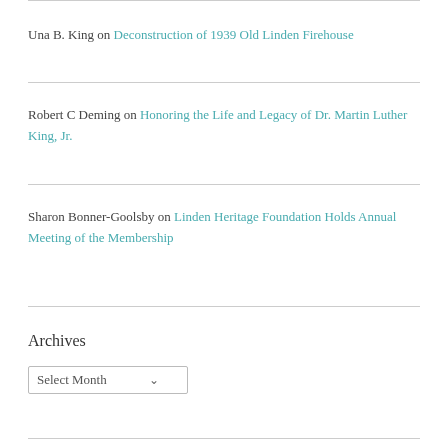Una B. King on Deconstruction of 1939 Old Linden Firehouse
Robert C Deming on Honoring the Life and Legacy of Dr. Martin Luther King, Jr.
Sharon Bonner-Goolsby on Linden Heritage Foundation Holds Annual Meeting of the Membership
Archives